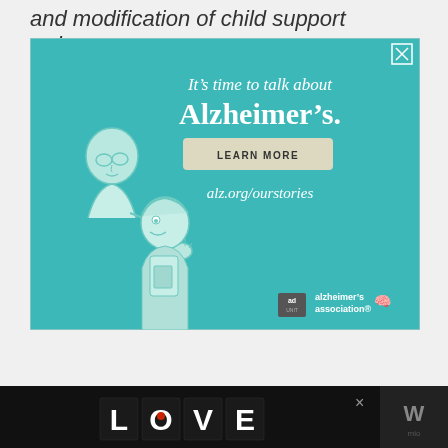and modification of child support orders.
[Figure (illustration): Alzheimer's Association advertisement on teal background showing two illustrated elderly/younger figures, text 'It's time to talk about Alzheimer's.' with LEARN MORE button, alz.org/ourstories URL, and Alzheimer's Association logo]
[Figure (illustration): Bottom banner advertisement with dark background showing decorative LOVE text logo in black and white illustrated style, with close button and a logo on the right side]